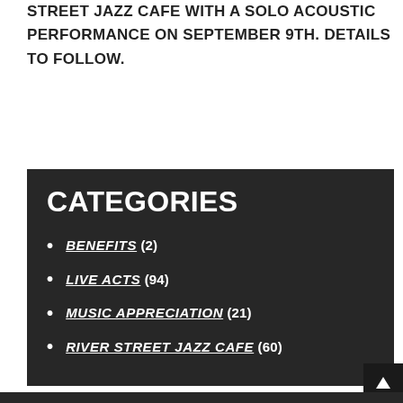STREET JAZZ CAFE WITH A SOLO ACOUSTIC PERFORMANCE ON SEPTEMBER 9TH. DETAILS TO FOLLOW.
CATEGORIES
BENEFITS (2)
LIVE ACTS (94)
MUSIC APPRECIATION (21)
RIVER STREET JAZZ CAFE (60)